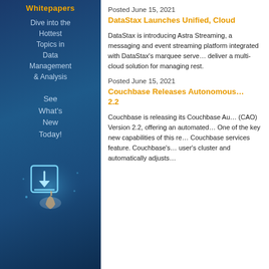[Figure (illustration): Blue gradient left panel with title 'Whitepapers', text 'Dive into the Hottest Topics in Data Management & Analysis', 'See What's New Today!', and a glowing download icon with a hand pointing up at bottom]
Posted June 15, 2021
DataStax Launches Unified, Cloud-...
DataStax is introducing Astra Streaming, a messaging and event streaming platform integrated with DataStax's marquee serve... deliver a multi-cloud solution for managing rest.
Posted June 15, 2021
Couchbase Releases Autonomous... 2.2
Couchbase is releasing its Couchbase Au... (CAO) Version 2.2, offering an automated... One of the key new capabilities of this re... Couchbase services feature. Couchbase's... user's cluster and automatically adjusts...